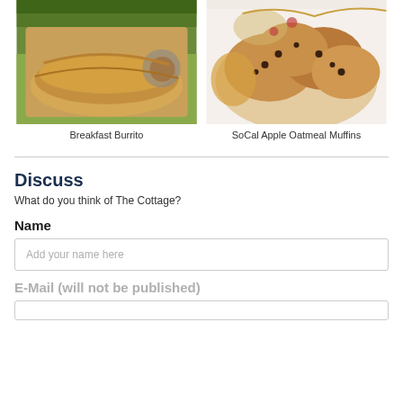[Figure (photo): Photo of a breakfast burrito on a metal tray with a small cup of sauce]
Breakfast Burrito
[Figure (photo): Photo of SoCal Apple Oatmeal Muffins in a basket]
SoCal Apple Oatmeal Muffins
Discuss
What do you think of The Cottage?
Name
Add your name here
E-Mail (will not be published)